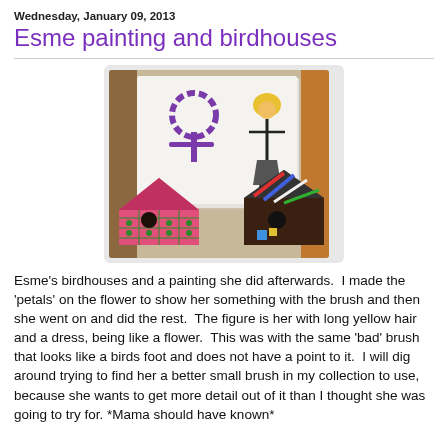Wednesday, January 09, 2013
Esme painting and birdhouses
[Figure (photo): Photo of two decorated birdhouses on a table in front of a white piece of paper with two children's paintings: a purple flower and a figure with long yellow hair and a dress.]
Esme's birdhouses and a painting she did afterwards.  I made the 'petals' on the flower to show her something with the brush and then she went on and did the rest.  The figure is her with long yellow hair and a dress, being like a flower.  This was with the same 'bad' brush that looks like a birds foot and does not have a point to it.  I will dig around trying to find her a better small brush in my collection to use, because she wants to get more detail out of it than I thought she was going to try for. *Mama should have known*